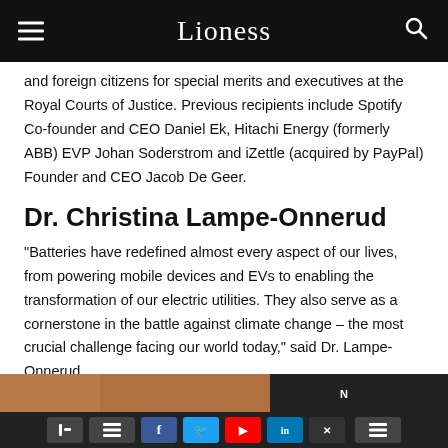Lioness
and foreign citizens for special merits and executives at the Royal Courts of Justice. Previous recipients include Spotify Co-founder and CEO Daniel Ek, Hitachi Energy (formerly ABB) EVP Johan Soderstrom and iZettle (acquired by PayPal) Founder and CEO Jacob De Geer.
Dr. Christina Lampe-Onnerud
“Batteries have redefined almost every aspect of our lives, from powering mobile devices and EVs to enabling the transformation of our electric utilities. They also serve as a cornerstone in the battle against climate change – the most crucial challenge facing our world today,” said Dr. Lampe-Onnerud.
[Figure (photo): Partial image strip at the bottom of the article page]
Social sharing buttons: Facebook, Twitter, YouTube, LinkedIn